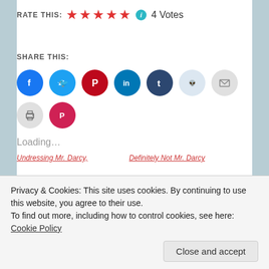RATE THIS: ★★★★★ ℹ 4 Votes
SHARE THIS:
[Figure (infographic): Row of social media share icon buttons: Facebook, Twitter, Pinterest, LinkedIn, Tumblr, Reddit, Email, Print, Pocket]
Loading...
RELATED
[Figure (photo): Photo of person sitting on white bench, legs visible, dark clothing]
[Figure (photo): Photo of red boots on green grass with white dress hem]
Undressing Mr. Darcy,
Definitely Not Mr. Darcy
Privacy & Cookies: This site uses cookies. By continuing to use this website, you agree to their use.
To find out more, including how to control cookies, see here: Cookie Policy
Close and accept